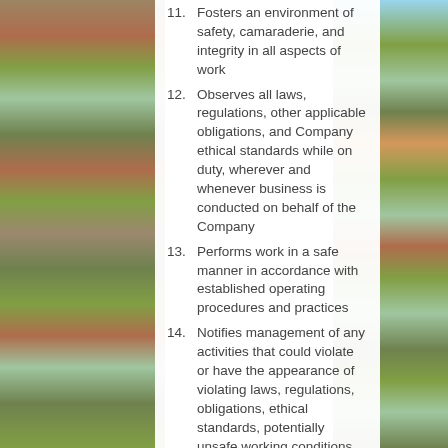11. Fosters an environment of safety, camaraderie, and integrity in all aspects of work
12. Observes all laws, regulations, other applicable obligations, and Company ethical standards while on duty, wherever and whenever business is conducted on behalf of the Company
13. Performs work in a safe manner in accordance with established operating procedures and practices
14. Notifies management of any activities that could violate or have the appearance of violating laws, regulations, obligations, ethical standards, potentially unsafe working conditions, procedures, or practices
Qualifications, Skills and Physical